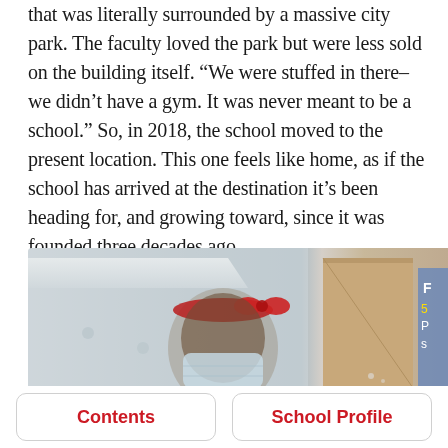that was literally surrounded by a massive city park. The faculty loved the park but were less sold on the building itself. “We were stuffed in there–we didn’t have a gym. It was never meant to be a school.” So, in 2018, the school moved to the present location. This one feels like home, as if the school has arrived at the destination it’s been heading for, and growing toward, since it was founded three decades ago.
[Figure (photo): A young girl wearing a red headband and a light blue face mask, looking downward. To her right is a brown cardboard structure and colorful hanging classroom materials. The setting appears to be a modern school classroom with white shelving visible.]
Contents
School Profile